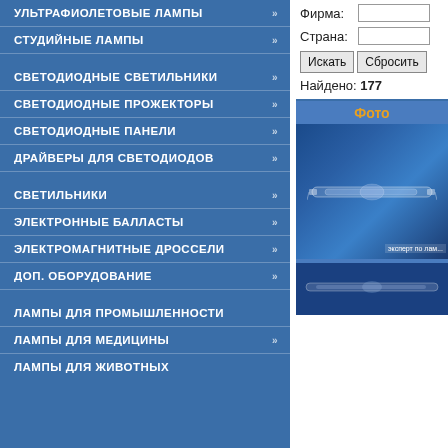УЛЬТРАФИОЛЕТОВЫЕ ЛАМПЫ
СТУДИЙНЫЕ ЛАМПЫ
СВЕТОДИОДНЫЕ СВЕТИЛЬНИКИ
СВЕТОДИОДНЫЕ ПРОЖЕКТОРЫ
СВЕТОДИОДНЫЕ ПАНЕЛИ
ДРАЙВЕРЫ ДЛЯ СВЕТОДИОДОВ
СВЕТИЛЬНИКИ
ЭЛЕКТРОННЫЕ БАЛЛАСТЫ
ЭЛЕКТРОМАГНИТНЫЕ ДРОССЕЛИ
ДОП. ОБОРУДОВАНИЕ
ЛАМПЫ ДЛЯ ПРОМЫШЛЕННОСТИ
ЛАМПЫ ДЛЯ МЕДИЦИНЫ
ЛАМПЫ ДЛЯ ЖИВОТНЫХ
Фирма:
Страна:
Искать   Сбросить
Найдено: 177
Фото
[Figure (photo): Photo of a tubular lamp/discharge lamp on blue background with 'эксперт по лам...' label]